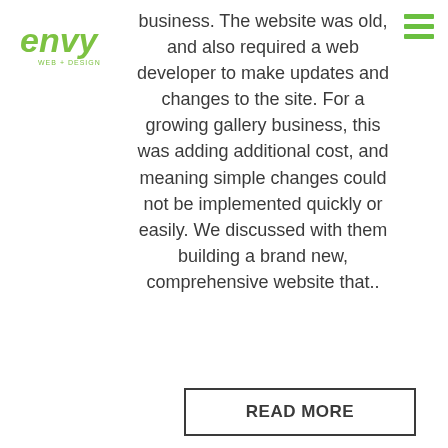[Figure (logo): Envy Web + Design logo with green stylized text and tagline]
business. The website was old, and also required a web developer to make updates and changes to the site. For a growing gallery business, this was adding additional cost, and meaning simple changes could not be implemented quickly or easily. We discussed with them building a brand new, comprehensive website that..
READ MORE